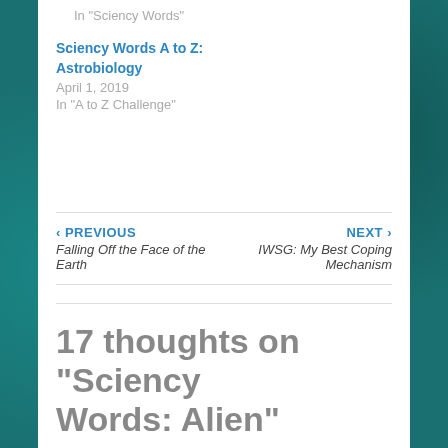In "Sciency Words"
Sciency Words A to Z: Astrobiology
April 1, 2019
In "A to Z Challenge"
‹ PREVIOUS
Falling Off the Face of the Earth
NEXT ›
IWSG: My Best Coping Mechanism
17 thoughts on “Sciency Words: Alien”